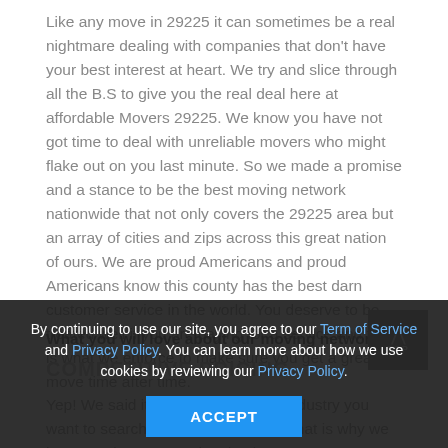Like any move in 29225 it can sometimes be a real nightmare dealing with companies that don't have your best interest at heart. We try and slice through all the B.S to give you the real deal here at affordable Movers 29225. We know you have not got time to deal with unreliable movers who might flake out on you last minute. So we made a promise and a stance to be the best moving network nationwide that not only covers the 29225 area but an array of cities and zips across this great nation of ours. We are proud Americans and proud Americans know this county has the best darn customer service in the world. You deserve to be treated well if you are paying for a service and this is what we enforce to make sure you get a great move time after time.
What you will love about our moving network.
COMPETITIVE PRICING
Yep! We said it, you know in every industry you want to search for the best price so that is why we have moving scouts who check
By continuing to use our site, you agree to our Term of Service and Privacy Policy. You can learn more about how we use cookies by reviewing our Privacy Policy.